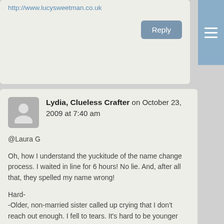http://www.lucysweetman.co.uk
Reply
Lydia, Clueless Crafter on October 23, 2009 at 7:40 am
@Laura G

Oh, how I understand the yuckitude of the name change process. I waited in line for 6 hours! No lie. And, after all that, they spelled my name wrong!

Hard-
-Older, non-married sister called up crying that I don't reach out enough. I fell to tears. It's hard to be younger and